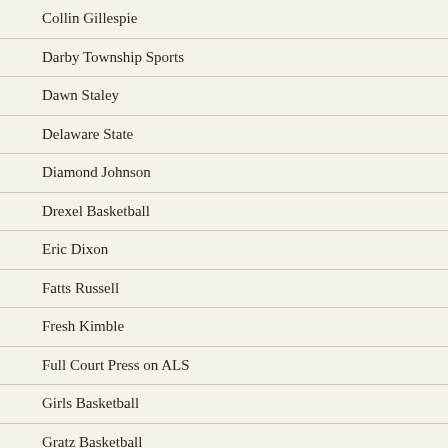Collin Gillespie
Darby Township Sports
Dawn Staley
Delaware State
Diamond Johnson
Drexel Basketball
Eric Dixon
Fatts Russell
Fresh Kimble
Full Court Press on ALS
Girls Basketball
Gratz Basketball
Imhotep
Jared Bynum
Jay Z